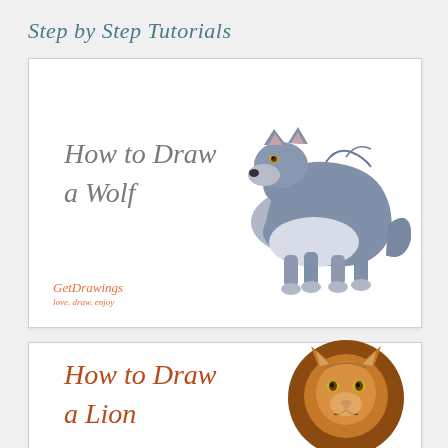Step by Step Tutorials
[Figure (illustration): Card showing 'How to Draw a Wolf' with a colored illustration of a wolf in grey and white tones, and GetDrawings logo at bottom left]
[Figure (illustration): Card showing 'How to Draw a Lion' with a colored illustration of a lion's head with brown mane, partially visible]